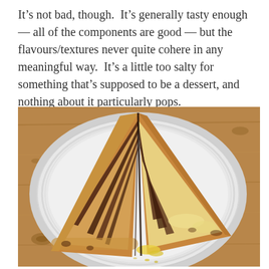It's not bad, though. It's generally tasty enough — all of the components are good — but the flavours/textures never quite cohere in any meaningful way. It's a little too salty for something that's supposed to be a dessert, and nothing about it particularly pops.
[Figure (photo): Two triangular pizza slices with dark jam/chocolate stripes and melted cheese on a white paper plate, placed on a wooden table surface.]